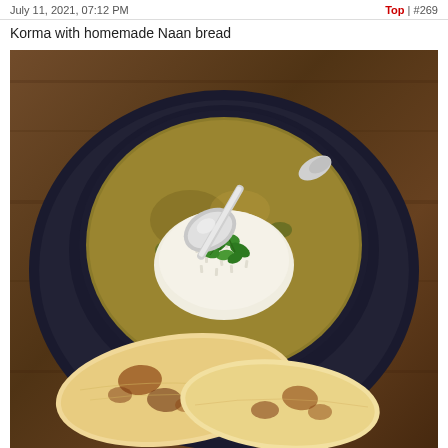July 11, 2021, 07:12 PM | Top | #269
Korma with homemade Naan bread
[Figure (photo): Overhead photo of a bowl of Korma curry topped with white rice and fresh cilantro, with a decorative silver spoon, served on a dark plate alongside two pieces of homemade naan bread with charred spots, all on a wooden table surface.]